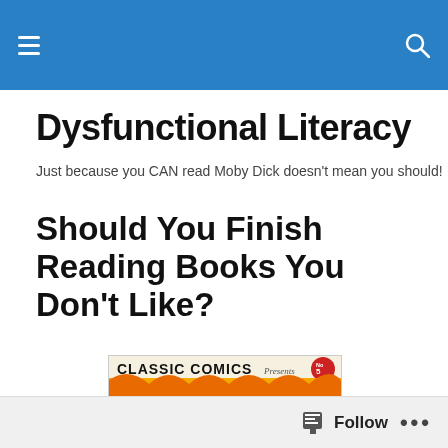Dysfunctional Literacy [navigation bar with hamburger menu and search icon]
Dysfunctional Literacy
Just because you CAN read Moby Dick doesn't mean you should!
Should You Finish Reading Books You Don't Like?
[Figure (photo): Classic Comics Presents Moby Dick volume 5 book cover illustration showing the title in orange flame-styled letters on a yellow/orange background.]
Follow ...